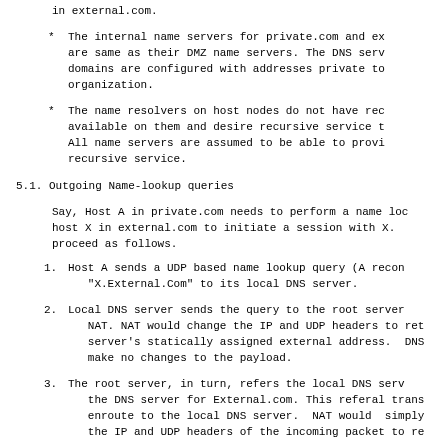in external.com.
The internal name servers for private.com and ex are same as their DMZ name servers. The DNS serv domains are configured with addresses private to organization.
The name resolvers on host nodes do not have rec available on them and desire recursive service t All name servers are assumed to be able to provi recursive service.
5.1. Outgoing Name-lookup queries
Say, Host A in private.com needs to perform a name loc host X in external.com to initiate a session with X. proceed as follows.
1. Host A sends a UDP based name lookup query (A recon "X.External.Com" to its local DNS server.
2. Local DNS server sends the query to the root server NAT. NAT would change the IP and UDP headers to ret server's statically assigned external address. DNS make no changes to the payload.
3. The root server, in turn, refers the local DNS serv the DNS server for External.com. This referal trans enroute to the local DNS server. NAT would simply the IP and UDP headers of the incoming packet to re